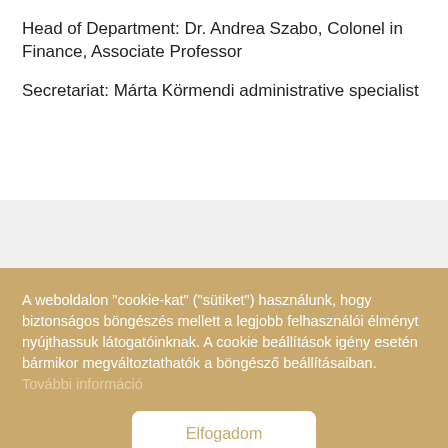Head of Department: Dr. Andrea Szabo, Colonel in Finance, Associate Professor
Secretariat: Márta Körmendi administrative specialist
A weboldalon "cookie-kat" ("sütiket") használunk, hogy biztonságos böngészés mellett a legjobb felhasználói élményt nyújthassuk látogatóinknak. A cookie beállítások igény esetén bármikor megváltoztathatók a böngésző beállításaiban. További információ
Elfogadom